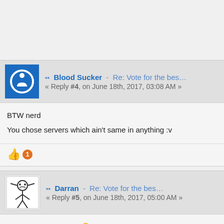Blood Sucker - Re: Vote for the bes… « Reply #4, on June 18th, 2017, 03:08 AM »
BTW nerd
You chose servers which ain't same in anything :v
👍 1
Darran - Re: Vote for the bes… « Reply #5, on June 18th, 2017, 05:00 AM »
hmm just vote for EC 🙂
[Figure (other): TCP Gaming advertisement banner: 'MAKE MONEY FROM POSTING' with Amazon logo]